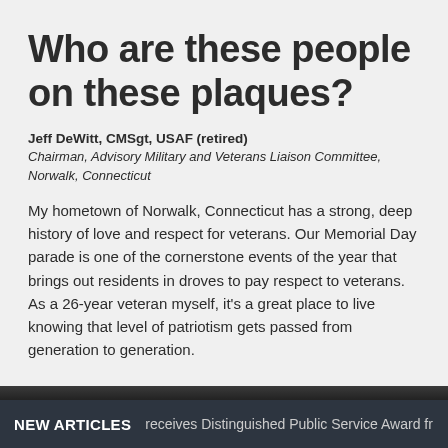Who are these people on these plaques?
Jeff DeWitt, CMSgt, USAF (retired)
Chairman, Advisory Military and Veterans Liaison Committee, Norwalk, Connecticut
My hometown of Norwalk, Connecticut has a strong, deep history of love and respect for veterans. Our Memorial Day parade is one of the cornerstone events of the year that brings out residents in droves to pay respect to veterans. As a 26-year veteran myself, it's a great place to live knowing that level of patriotism gets passed from generation to generation.
NEW ARTICLES   receives Distinguished Public Service Award fr